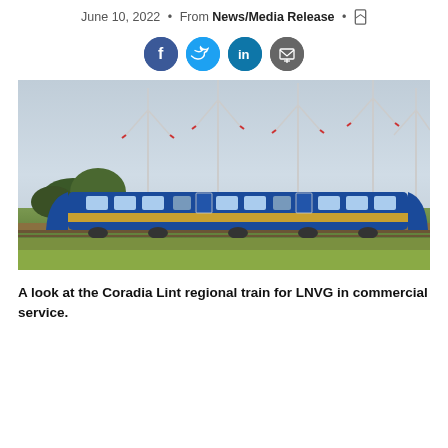June 10, 2022 • From News/Media Release •
[Figure (other): Social media sharing icons: Facebook (blue), Twitter (light blue), LinkedIn (dark blue), Email/bookmark (gray)]
[Figure (photo): A Coradia Lint regional train for LNVG in commercial service, traveling through green fields with multiple wind turbines visible in the background under a hazy blue-gray sky.]
A look at the Coradia Lint regional train for LNVG in commercial service.